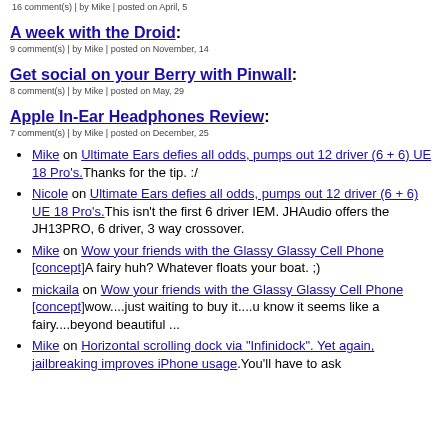16 comment(s) | by Mike | posted on April, 5
A week with the Droid:
9 comment(s) | by Mike | posted on November, 14
Get social on your Berry with Pinwall:
8 comment(s) | by Mike | posted on May, 29
Apple In-Ear Headphones Review:
7 comment(s) | by Mike | posted on December, 25
Mike on Ultimate Ears defies all odds, pumps out 12 driver (6 + 6) UE 18 Pro's. Thanks for the tip. :/
Nicole on Ultimate Ears defies all odds, pumps out 12 driver (6 + 6) UE 18 Pro's. This isn't the first 6 driver IEM. JHAudio offers the JH13PRO, 6 driver, 3 way crossover.
Mike on Wow your friends with the Glassy Glassy Cell Phone [concept] A fairy huh? Whatever floats your boat. ;)
mickaila on Wow your friends with the Glassy Glassy Cell Phone [concept] wow....just waiting to buy it....u know it seems like a fairy....beyond beautiful ...
Mike on Horizontal scrolling dock via "Infinidock". Yet again, jailbreaking improves iPhone usage. You'll have to ask